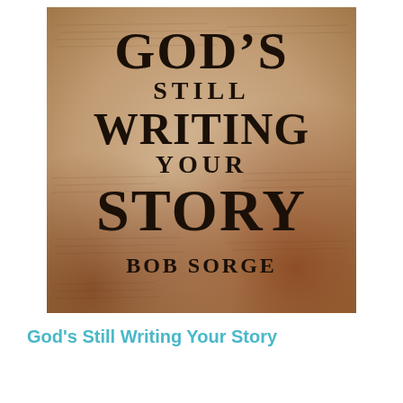[Figure (illustration): Book cover of 'God's Still Writing Your Story' by Bob Sorge. Parchment/aged manuscript background with handwritten script text visible. Bold serif title text in dark ink layered over the background: GOD'S STILL WRITING YOUR STORY, with author name BOB SORGE below.]
God's Still Writing Your Story